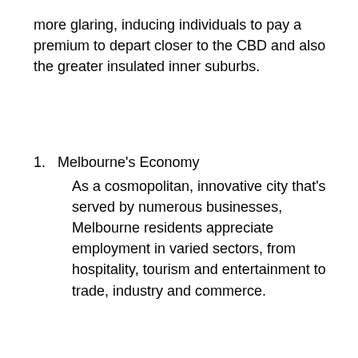more glaring, inducing individuals to pay a premium to depart closer to the CBD and also the greater insulated inner suburbs.
Melbourne's Economy
As a cosmopolitan, innovative city that's served by numerous businesses, Melbourne residents appreciate employment in varied sectors, from hospitality, tourism and entertainment to trade, industry and commerce.